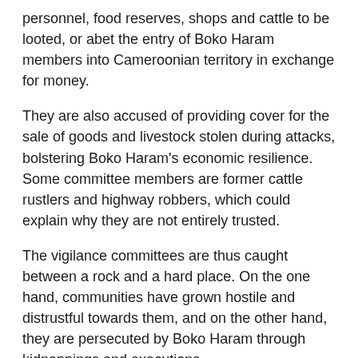personnel, food reserves, shops and cattle to be looted, or abet the entry of Boko Haram members into Cameroonian territory in exchange for money.
They are also accused of providing cover for the sale of goods and livestock stolen during attacks, bolstering Boko Haram's economic resilience. Some committee members are former cattle rustlers and highway robbers, which could explain why they are not entirely trusted.
The vigilance committees are thus caught between a rock and a hard place. On the one hand, communities have grown hostile and distrustful towards them, and on the other hand, they are persecuted by Boko Haram through kidnappings and executions.
Resolving the situation is important because of the key role the committees play in the fight against Boko Haram. They alert the defence forces to threats and limit the access of